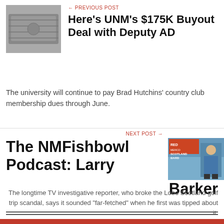← PREVIOUS POST
Here's UNM's $175K Buyout Deal with Deputy AD
The university will continue to pay Brad Hutchins' country club membership dues through June.
NEXT POST →
The NMFishbowl Podcast: Larry Barker
The longtime TV investigative reporter, who broke the Lobo Scotland golf trip scandal, says it sounded "far-fetched" when he first was tipped about it.